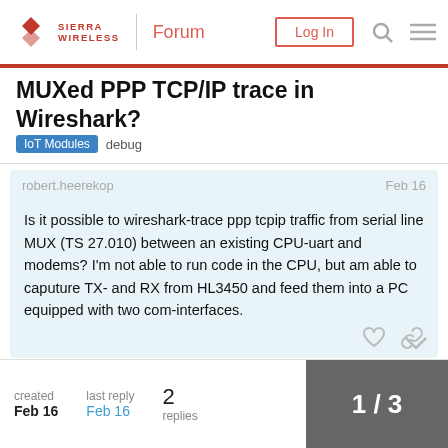Sierra Wireless Forum - Log In
MUXed PPP TCP/IP trace in Wireshark?
IoT Modules  debug
robert.heerekop  Feb 16
Is it possible to wireshark-trace ppp tcpip traffic from serial line MUX (TS 27.010) between an existing CPU-uart and modems? I'm not able to run code in the CPU, but am able to caputure TX- and RX from HL3450 and feed them into a PC equipped with two com-interfaces.
created Feb 16  last reply Feb 16  2 replies
1 / 3